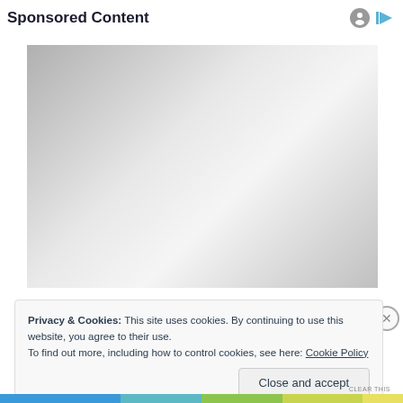Sponsored Content
[Figure (other): Grey gradient placeholder image for sponsored content advertisement]
Privacy & Cookies: This site uses cookies. By continuing to use this website, you agree to their use.
To find out more, including how to control cookies, see here: Cookie Policy
Close and accept